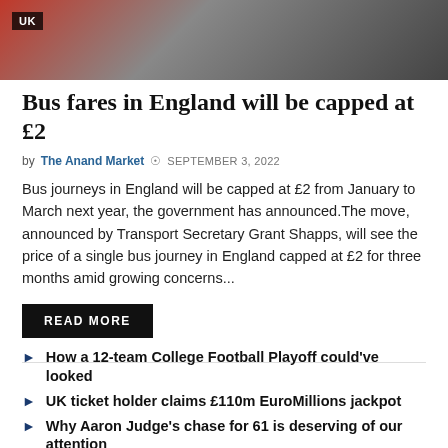[Figure (photo): Photo of people near a red bus, with a 'UK' label overlay in the top left corner]
Bus fares in England will be capped at £2
by The Anand Market  © SEPTEMBER 3, 2022
Bus journeys in England will be capped at £2 from January to March next year, the government has announced.The move, announced by Transport Secretary Grant Shapps, will see the price of a single bus journey in England capped at £2 for three months amid growing concerns...
READ MORE
How a 12-team College Football Playoff could've looked
UK ticket holder claims £110m EuroMillions jackpot
Why Aaron Judge's chase for 61 is deserving of our attention